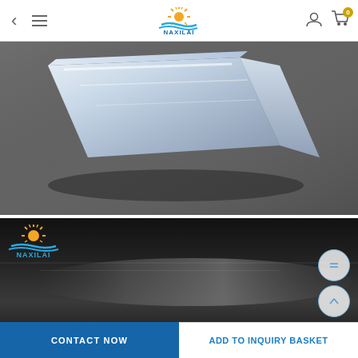[Figure (screenshot): Mobile e-commerce website header navigation bar with back arrow, hamburger menu, Naxilai logo in center, user icon and shopping cart with badge showing 0]
[Figure (photo): Close-up product photo of a clear acrylic/plexiglass rectangular block on a dark gray background]
[Figure (photo): Dark studio product photo showing a flat dark transparent acrylic sheet on black background, with Naxilai logo watermark in top-left corner]
CONTACT NOW
ADD TO INQUIRY BASKET